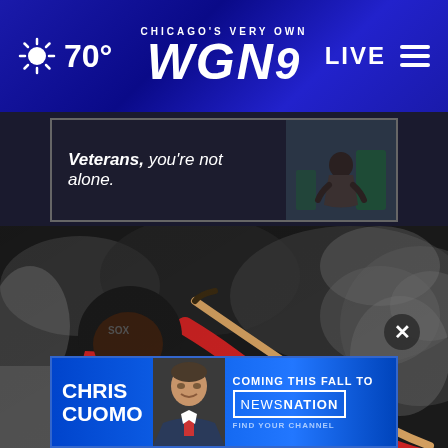Chicago's Very Own WGN9 — 70° — LIVE
[Figure (screenshot): Advertisement banner: Veterans, you're not alone. Shows a person seated with head down.]
[Figure (photo): Baseball player in White Sox uniform mid-swing with a bat, wearing red-brimmed helmet and red batting gloves. Blurred crowd in background.]
[Figure (screenshot): Advertisement banner for Chris Cuomo coming this fall to NewsNation. Shows Chris Cuomo's photo, text CHRIS CUOMO on the left, COMING THIS FALL TO NEWSNATION FIND YOUR CHANNEL on the right.]